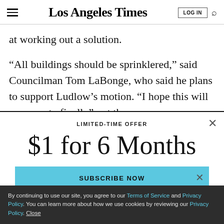Los Angeles Times
at working out a solution.
“All buildings should be sprinklered,” said Councilman Tom LaBonge, who said he plans to support Ludlow’s motion. “I hope this will cause us to finally” put them
[Figure (screenshot): Paywall modal overlay with LIMITED-TIME OFFER label, '$1 for 6 Months' offer price in large serif font, and a cyan 'SUBSCRIBE NOW' button]
By continuing to use our site, you agree to our Terms of Service and Privacy Policy. You can learn more about how we use cookies by reviewing our Privacy Policy. Close